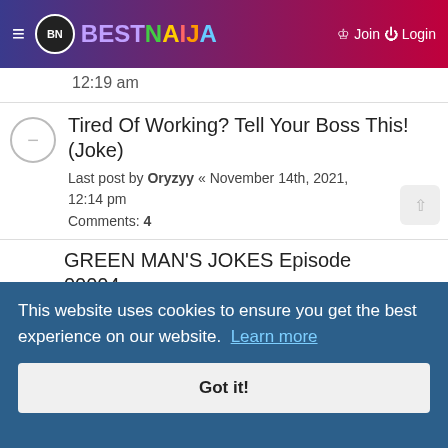≡ BN BESTNAIJA  Join Login
12:19 am
Tired Of Working? Tell Your Boss This! (Joke)
Last post by Oryzyy « November 14th, 2021, 12:14 pm
Comments: 4
GREEN MAN'S JOKES Episode 00004
Last post by Oryzyy « November 14th, 2021, 12:11 pm
Comments: 2
SCHOOL AFTER CORONA
This website uses cookies to ensure you get the best experience on our website. Learn more
Got it!